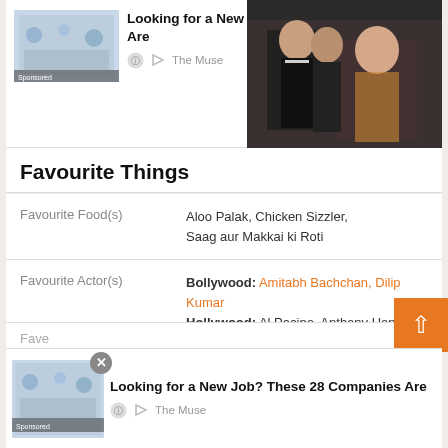[Figure (screenshot): Sponsored ad banner: 'Looking for a New Job? These 28 Companies Are' from The Muse, with office image thumbnail]
[Figure (photo): Photo of Bollywood actors/celebrities group]
Favourite Things
| Field | Value |
| --- | --- |
| Favourite Food(s) | Aloo Palak, Chicken Sizzler, Saag aur Makkai ki Roti |
| Favourite Actor(s) | Bollywood: Amitabh Bachchan, Dilip Kumar
Hollywood: Al Pacino, Anthony Hopkins |
| Favourite Actress | Madhuri Dixit |
[Figure (screenshot): Second sponsored ad banner overlay: 'Looking for a New Job? These 28 Companies Are' from The Muse with close button]